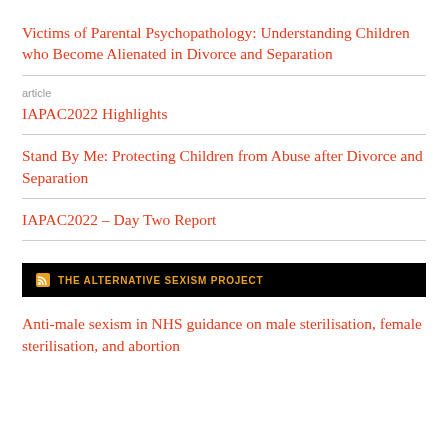Victims of Parental Psychopathology: Understanding Children who Become Alienated in Divorce and Separation
IAPAC2022 Highlights
Stand By Me: Protecting Children from Abuse after Divorce and Separation
IAPAC2022 – Day Two Report
THE ALTERNATIVE SEXISM PROJECT
Anti-male sexism in NHS guidance on male sterilisation, female sterilisation, and abortion